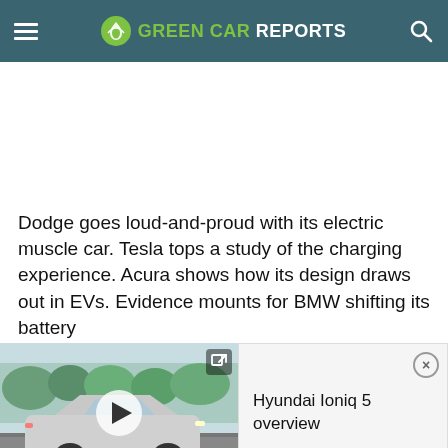GREEN CAR REPORTS
Dodge goes loud-and-proud with its electric muscle car. Tesla tops a study of the charging experience. Acura shows how its design draws out in EVs. Evidence mounts for BMW shifting its battery
[Figure (screenshot): Video thumbnail showing a Hyundai Ioniq 5 driving on a road, with a play button overlay and an external link icon. Adjacent panel shows title 'Hyundai Ioniq 5 overview' with a close button.]